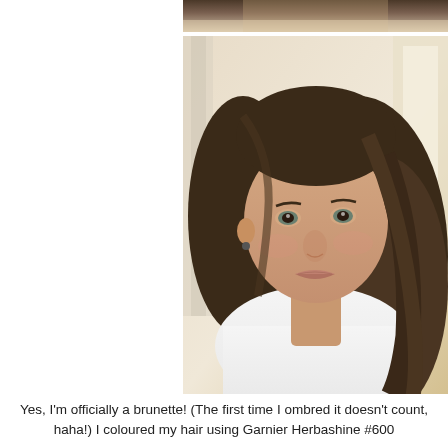[Figure (photo): Top partial photo of a person, cropped showing only top of head/hair, warm background tones.]
[Figure (photo): Portrait photo of a young woman with long dark brown hair worn loosely, wearing a white sleeveless top, smiling softly. Indoor setting with light wall and window in background.]
Yes, I'm officially a brunette!  (The first time I ombred it doesn't count, haha!)  I coloured my hair using Garnier Herbashine #600